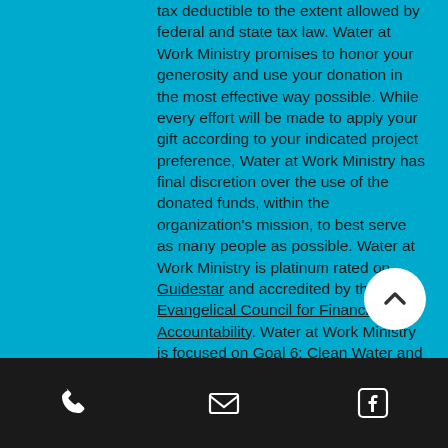tax deductible to the extent allowed by federal and state tax law. Water at Work Ministry promises to honor your generosity and use your donation in the most effective way possible. While every effort will be made to apply your gift according to your indicated project preference, Water at Work Ministry has final discretion over the use of the donated funds, within the organization's mission, to best serve as many people as possible. Water at Work Ministry is platinum rated on Guidestar and accredited by the Evangelical Council for Financial Accountability. Water at Work Ministry is focused on Goal 6: Clean Water and Sanitation and Goal 8: Decent Work and Economic Growth of the Sustainable Development Goals established by the United Nations.
Phone | Email | Facebook icons